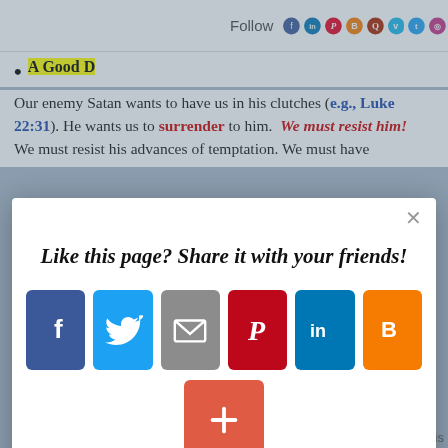Follow [social icons: Facebook, LinkedIn, Pinterest, Blogger, Quora, Vimeo, Twitter, Instagram]
A Good D[evil] ...
Our enemy Satan wants to have us in his clutches (e.g., Luke 22:31). He wants us to surrender to him. We must resist him! We must resist his advances of temptation. We must have
[Figure (screenshot): Modal popup overlay with share prompt: 'Like this page? Share it with your friends!' with share buttons for Facebook, Twitter, Email, Pinterest, LinkedIn, Blogger, and a + button. AddThis branding at bottom right.]